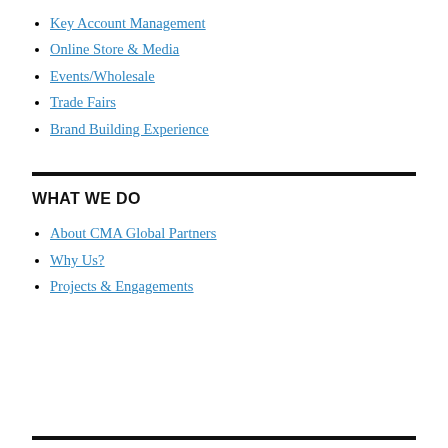Key Account Management
Online Store & Media
Events/Wholesale
Trade Fairs
Brand Building Experience
WHAT WE DO
About CMA Global Partners
Why Us?
Projects & Engagements